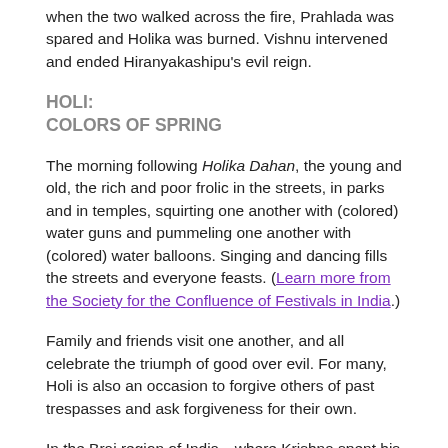when the two walked across the fire, Prahlada was spared and Holika was burned. Vishnu intervened and ended Hiranyakashipu's evil reign.
HOLI:
COLORS OF SPRING
The morning following Holika Dahan, the young and old, the rich and poor frolic in the streets, in parks and in temples, squirting one another with (colored) water guns and pummeling one another with (colored) water balloons. Singing and dancing fills the streets and everyone feasts. (Learn more from the Society for the Confluence of Festivals in India.)
Family and friends visit one another, and all celebrate the triumph of good over evil. For many, Holi is also an occasion to forgive others of past trespasses and ask forgiveness for their own.
In the Braj region of India—where Krishna spent his childhood—Holi is observed for 16 days. In Braj and in some Caribbean and South American communities, Holi is explained this way: As a youth, Krishna was embarrassed about his dark blue skin color. Krishna